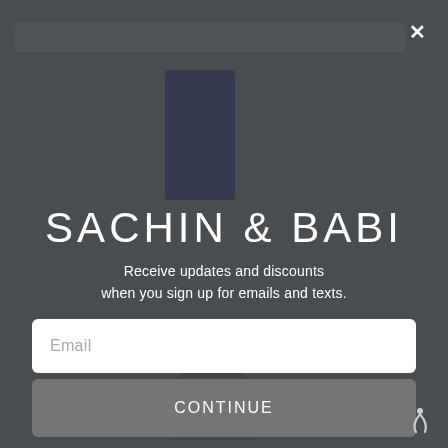[Figure (screenshot): Dark blurred website background with navigation bar visible at top and product/model images visible behind modal overlay]
SACHIN & BABI
Receive updates and discounts when you sign up for emails and texts.
Email
CONTINUE